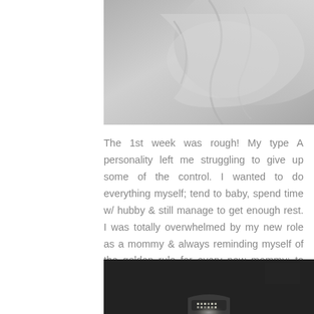[Figure (photo): Black and white close-up photo of soft fabric or blanket with creases and folds]
The 1st week was rough! My type A personality left me struggling to give up some of the control. I wanted to do everything myself; tend to baby, spend time w/ hubby & still manage to get enough rest. I was totally overwhelmed by my new role as a mommy & always reminding myself of the golden rule for every new mommy: to sleep when the baby sleeps!
[Figure (photo): Black and white photo showing a dark scene with a small illuminated object at bottom center, possibly a nightlight or device display]